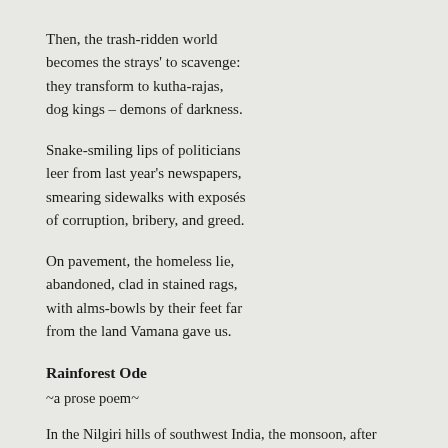Then, the trash-ridden world
becomes the strays' to scavenge:
they transform to kutha-rajas,
dog kings – demons of darkness.
Snake-smiling lips of politicians
leer from last year's newspapers,
smearing sidewalks with exposés
of corruption, bribery, and greed.
On pavement, the homeless lie,
abandoned, clad in stained rags,
with alms-bowls by their feet far
from the land Vamana gave us.
Rainforest Ode
~a prose poem~
In the Nilgiri hills of southwest India, the monsoon, after travelling the country's length, lingers like a lover, painting the landscape green.